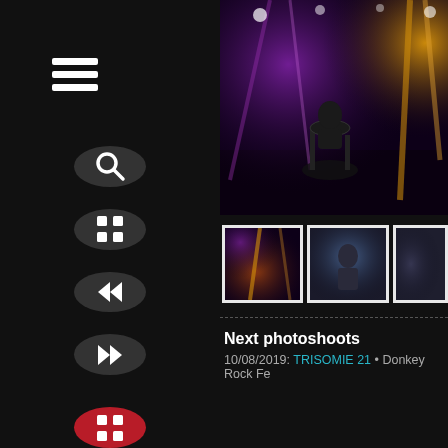[Figure (screenshot): Dark UI app sidebar with hamburger menu icon (three white horizontal lines), search icon (magnifying glass) on dark circle, grid/apps icon on dark circle, rewind icon on dark circle, fast-forward icon on dark circle, and a red grid/calendar icon on red circle at the bottom.]
[Figure (photo): Concert photo showing a band performing on stage with purple and golden stage lights, drummer visible, dark moody atmosphere.]
[Figure (photo): Three thumbnail concert photos showing stage lighting scenes.]
Next photoshoots
10/08/2019: TRISOMIE 21 • Donkey Rock Fe